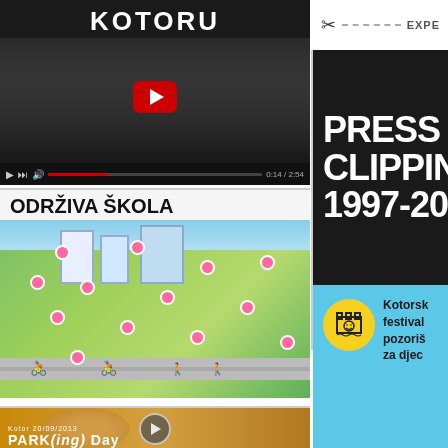[Figure (screenshot): YouTube video thumbnail showing performers in white clothing on a dark stage, with title KOTORU at top and red YouTube play button. Video controls visible at bottom.]
[Figure (screenshot): Interactive educational map titled 'ODRŽIVA ŠKOLA' (Sustainable School) showing a colorful illustrated town with pink dots marking interactive points, roads, cyclists, and pedestrians.]
[Figure (screenshot): Video thumbnail for PARKing Day event in Kotor on 20/09/2013, showing a child's face and a circular play button, with event title at bottom.]
[Figure (screenshot): Press Clipping cover design with scissors and dashed line at top, large white text 'PRESS CLIPPING 1997-201...' on black background.]
[Figure (logo): Kotorski festival pozorišta za djecu logo: light blue box with yellow circle sun/castle badge and text 'Kotorsk festival pozoriš za djec']